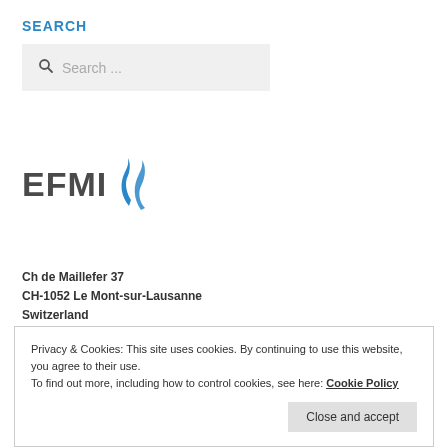SEARCH
[Figure (screenshot): Search input box with magnifying glass icon and placeholder text 'Search ...']
[Figure (logo): EFMI logo with stylized blue flame/leaf icon to the right of the text 'EFMI']
Ch de Maillefer 37
CH-1052 Le Mont-sur-Lausanne
Switzerland
Privacy & Cookies: This site uses cookies. By continuing to use this website, you agree to their use.
To find out more, including how to control cookies, see here: Cookie Policy
Close and accept